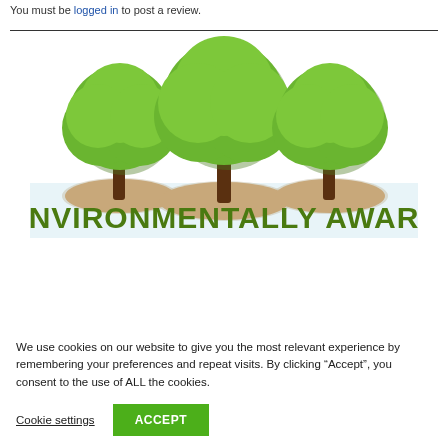You must be logged in to post a review.
[Figure (illustration): Three green cartoon trees on sandy mounds with the text ENVIRONMENTALLY AWARE in bold dark green letters on a light blue banner background.]
We use cookies on our website to give you the most relevant experience by remembering your preferences and repeat visits. By clicking “Accept”, you consent to the use of ALL the cookies.
Cookie settings
ACCEPT